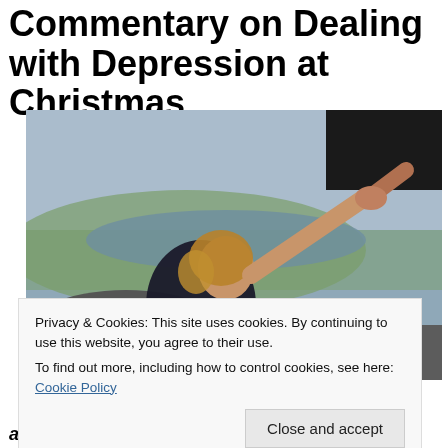Commentary on Dealing with Depression at Christmas
[Figure (photo): A woman with blonde hair reaching up to grab an outstretched hand from another person, set against a scenic landscape with rocky terrain in the foreground and green fields in the background.]
Privacy & Cookies: This site uses cookies. By continuing to use this website, you agree to their use.
To find out more, including how to control cookies, see here: Cookie Policy
Close and accept
applies more so today, than ever for 2015